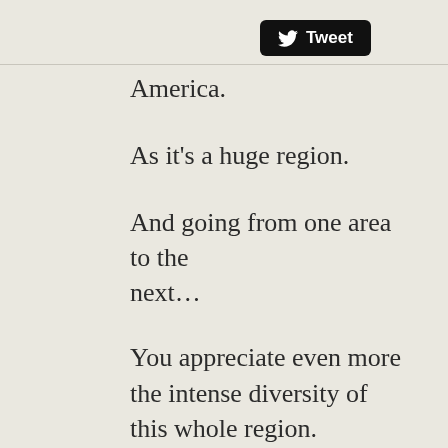[Figure (other): Twitter Tweet button with bird logo on black rounded rectangle background]
America.
As it's a huge region.
And going from one area to the next...
You appreciate even more the intense diversity of this whole region.
Another thing about Latin